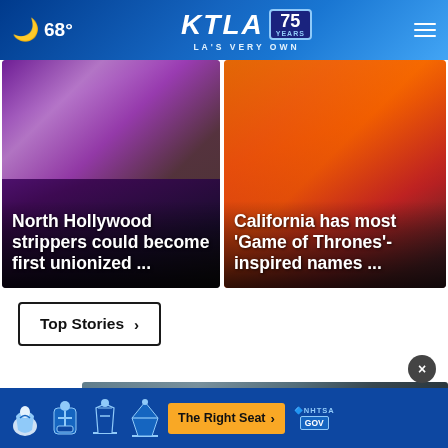KTLA 75 Years — LA'S VERY OWN — 68°
[Figure (photo): News card: North Hollywood strippers could become first unionized ... — dark purple/violet background with pink figure]
[Figure (photo): News card: California has most 'Game of Thrones'-inspired names ... — orange/red mural background]
Top Stories  ›
[Figure (photo): Partial image of person with headphones/earbuds, with close button (×)]
[Figure (infographic): NHTSA ad banner: The Right Seat › with car seat safety icons on blue background]